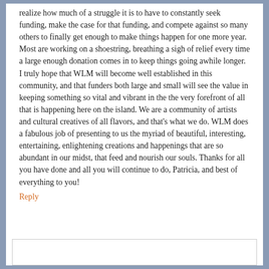realize how much of a struggle it is to have to constantly seek funding, make the case for that funding, and compete against so many others to finally get enough to make things happen for one more year. Most are working on a shoestring, breathing a sigh of relief every time a large enough donation comes in to keep things going awhile longer. I truly hope that WLM will become well established in this community, and that funders both large and small will see the value in keeping something so vital and vibrant in the the very forefront of all that is happening here on the island. We are a community of artists and cultural creatives of all flavors, and that's what we do. WLM does a fabulous job of presenting to us the myriad of beautiful, interesting, entertaining, enlightening creations and happenings that are so abundant in our midst, that feed and nourish our souls. Thanks for all you have done and all you will continue to do, Patricia, and best of everything to you!
Reply